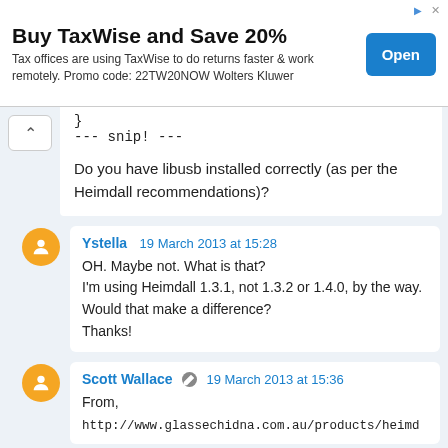[Figure (screenshot): Ad banner: Buy TaxWise and Save 20% with Open button]
}
--- snip! ---

Do you have libusb installed correctly (as per the Heimdall recommendations)?
Ystella  19 March 2013 at 15:28
OH. Maybe not. What is that?
I'm using Heimdall 1.3.1, not 1.3.2 or 1.4.0, by the way. Would that make a difference?
Thanks!
Scott Wallace  19 March 2013 at 15:36
From,
http://www.glassechidna.com.au/products/heimd